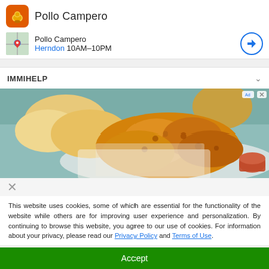Pollo Campero
Pollo Campero
Herndon 10AM–10PM
IMMIHELP
[Figure (photo): Fried chicken pieces and bread rolls on a white plate with dipping sauce, advertisement image]
This website uses cookies, some of which are essential for the functionality of the website while others are for improving user experience and personalization. By continuing to browse this website, you agree to our use of cookies. For information about your privacy, please read our Privacy Policy and Terms of Use.
Accept